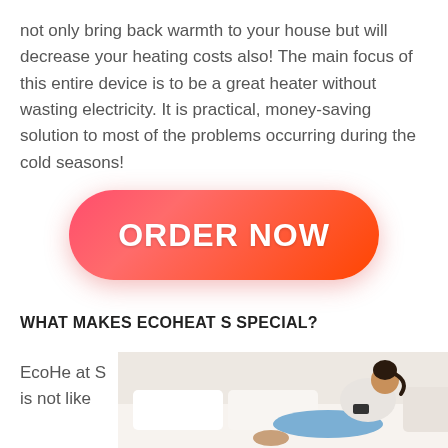not only bring back warmth to your house but will decrease your heating costs also! The main focus of this entire device is to be a great heater without wasting electricity. It is practical, money-saving solution to most of the problems occurring during the cold seasons!
[Figure (other): Large pink-to-red gradient 'ORDER NOW' button with rounded corners]
WHAT MAKES ECOHEAT S SPECIAL?
EcoHeat S is not like
[Figure (photo): Woman relaxing on a white sofa, wearing jeans and a light top, using a smartphone, smiling]